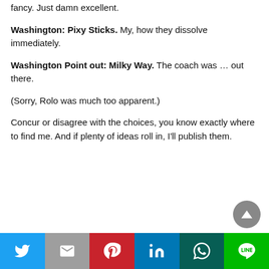fancy. Just damn excellent.
Washington: Pixy Sticks. My, how they dissolve immediately.
Washington Point out: Milky Way. The coach was … out there.
(Sorry, Rolo was much too apparent.)
Concur or disagree with the choices, you know exactly where to find me. And if plenty of ideas roll in, I'll publish them.
[Figure (other): Social sharing bar with Twitter, Gmail, Pinterest, LinkedIn, WhatsApp, and LINE buttons]